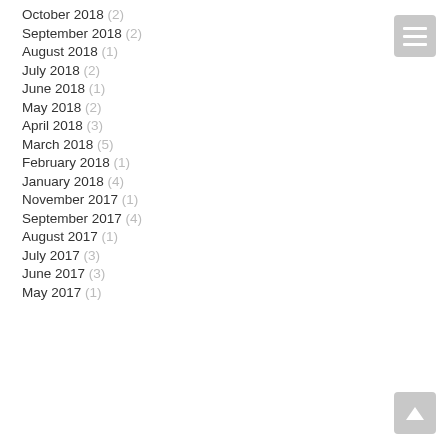October 2018 (2)
September 2018 (2)
August 2018 (1)
July 2018 (2)
June 2018 (1)
May 2018 (2)
April 2018 (3)
March 2018 (5)
February 2018 (1)
January 2018 (4)
November 2017 (1)
September 2017 (4)
August 2017 (1)
July 2017 (3)
June 2017 (3)
May 2017 (1)